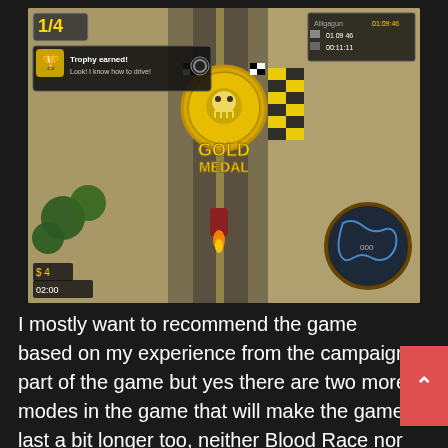[Figure (screenshot): Top-down view of a racing game showing a race track with a gold medal overlay in the center, a trophy notification in the top left reading 'Trophy earned! Look! I know how to drive!', player position '1/4' shown, timer displays on top right, minimap in bottom right, and flames/cars visible on the track.]
I mostly want to recommend the game based on my experience from the campaign part of the game but yes there are two more modes in the game that will make the game last a bit longer too, neither Blood Race nor Slaughter mode is bad or boring to play but it is a bit more of the sa
The Blood Race is basically Micro Machines with a